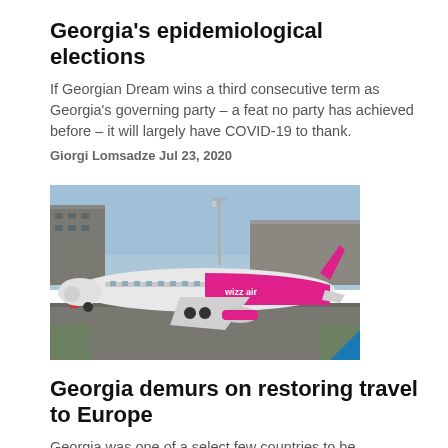Georgia's epidemiological elections
If Georgian Dream wins a third consecutive term as Georgia's governing party – a feat no party has achieved before – it will largely have COVID-19 to thank.
Giorgi Lomsadze  Jul 23, 2020
[Figure (photo): A Wizz Air airplane (white and pink livery) on an airport tarmac, with industrial buildings and a lamp post visible in the background.]
Georgia demurs on restoring travel to Europe
Georgia was one of a select few countries to be approved for travel to the EU in the wake of the coronavirus